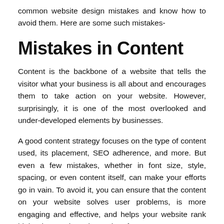common website design mistakes and know how to avoid them. Here are some such mistakes-
Mistakes in Content
Content is the backbone of a website that tells the visitor what your business is all about and encourages them to take action on your website. However, surprisingly, it is one of the most overlooked and under-developed elements by businesses.
A good content strategy focuses on the type of content used, its placement, SEO adherence, and more. But even a few mistakes, whether in font size, style, spacing, or even content itself, can make your efforts go in vain. To avoid it, you can ensure that the content on your website solves user problems, is more engaging and effective, and helps your website rank higher in search engines. Therefore,